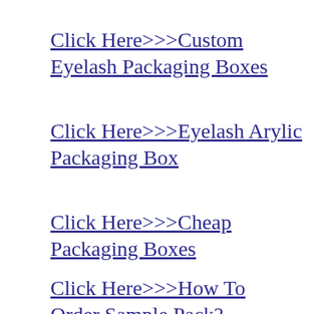Click Here>>>Custom Eyelash Packaging Boxes
Click Here>>>Eyelash Arylic Packaging Box
Click Here>>>Cheap Packaging Boxes
Click Here>>>How To Order Sample Pack?